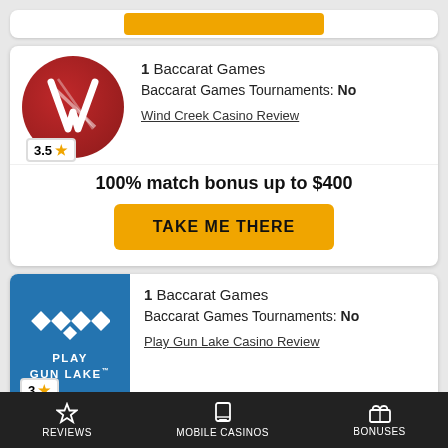[Figure (screenshot): Wind Creek Casino logo - red circle with white W-like design]
1 Baccarat Games
Baccarat Games Tournaments: No
Wind Creek Casino Review
100% match bonus up to $400
TAKE ME THERE
[Figure (logo): Play Gun Lake casino logo - blue background with diamond shapes pattern and text PLAY GUN LAKE]
1 Baccarat Games
Baccarat Games Tournaments: No
Play Gun Lake Casino Review
REVIEWS   MOBILE CASINOS   BONUSES